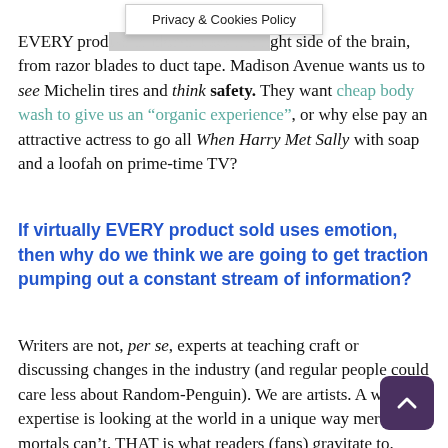Privacy & Cookies Policy
EVERY product marketed uses the right side of the brain, from razor blades to duct tape. Madison Avenue wants us to see Michelin tires and think safety. They want cheap body wash to give us an “organic experience”, or why else pay an attractive actress to go all When Harry Met Sally with soap and a loofah on prime-time TV?
If virtually EVERY product sold uses emotion, then why do we think we are going to get traction pumping out a constant stream of information?
Writers are not, per se, experts at teaching craft or discussing changes in the industry (and regular people could care less about Random-Penguin). We are artists. A writer’s expertise is looking at the world in a unique way mere mortals can’t. THAT is what readers (fans) gravitate to. They rely on focus in on something they would have walked right past make that unexceptional object or event magical.